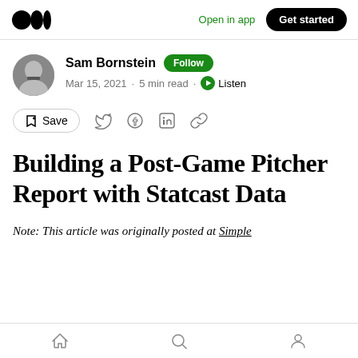Open in app | Get started
Sam Bornstein · Follow · Mar 15, 2021 · 5 min read · Listen
Building a Post-Game Pitcher Report with Statcast Data
Note: This article was originally posted at Simple
Home | Search | Profile